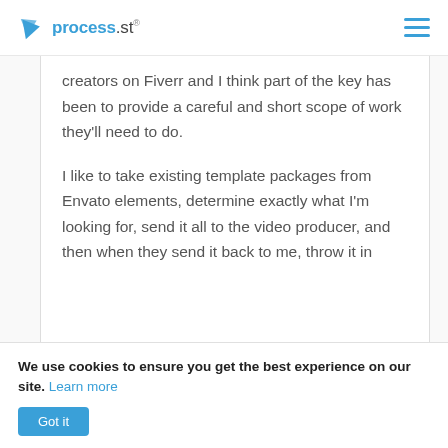process.st
creators on Fiverr and I think part of the key has been to provide a careful and short scope of work they'll need to do.
I like to take existing template packages from Envato elements, determine exactly what I'm looking for, send it all to the video producer, and then when they send it back to me, throw it in
We use cookies to ensure you get the best experience on our site. Learn more